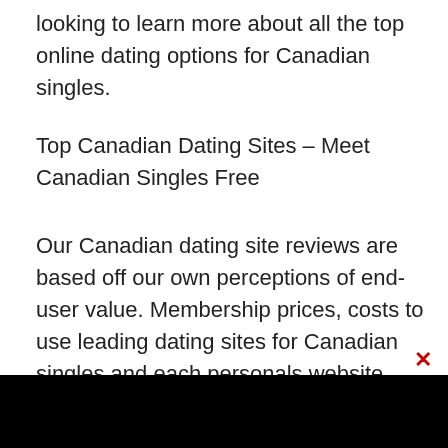looking to learn more about all the top online dating options for Canadian singles.
Top Canadian Dating Sites - Meet Canadian Singles Free
Our Canadian dating site reviews are based off our own perceptions of end-user value. Membership prices, costs to use leading dating sites for Canadian singles and each personals website offering some degree of social verification are the factors we most heavily weighted.
[Figure (other): Black banner/advertisement area at the bottom of the page with a red close/X button in the upper right corner]